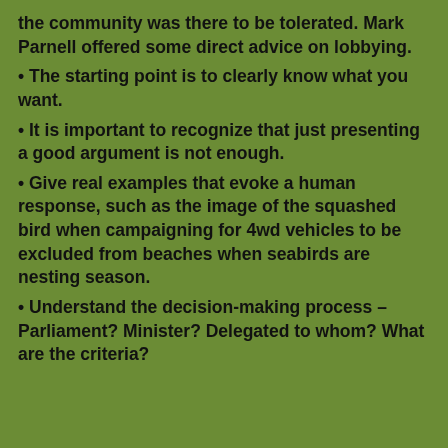the community was there to be tolerated. Mark Parnell offered some direct advice on lobbying.
The starting point is to clearly know what you want.
It is important to recognize that just presenting a good argument is not enough.
Give real examples that evoke a human response, such as the image of the squashed bird when campaigning for 4wd vehicles to be excluded from beaches when seabirds are nesting season.
Understand the decision-making process – Parliament? Minister? Delegated to whom? What are the criteria?